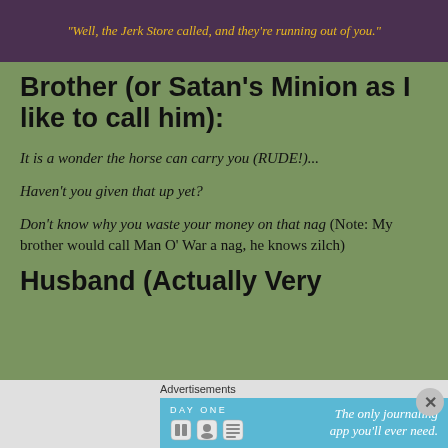[Figure (screenshot): Dark purple/maroon banner image with yellow italic text quote: "Well, the Jerk Store called, and they're running out of you."]
Brother (or Satan's Minion as I like to call him):
It is a wonder the horse can carry you (RUDE!)...
Haven't you given that up yet?
Don't know why you waste your money on that nag (Note: My brother would call Man O' War a nag, he knows zilch)
Husband (Actually Very
[Figure (screenshot): Advertisement banner: DAY ONE journaling app. Light blue background with app icons and text 'The only journaling app you'll ever need.']